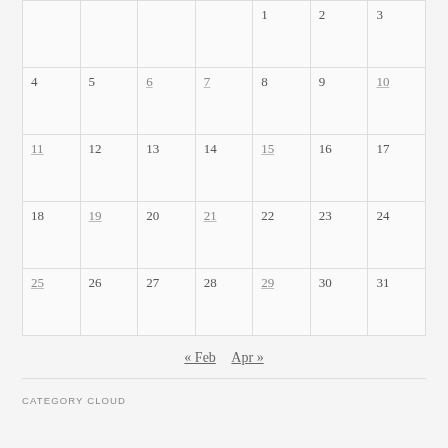| Sun | Mon | Tue | Wed | Thu | Fri | Sat |
| --- | --- | --- | --- | --- | --- | --- |
|  |  |  |  | 1 | 2 | 3 |
| 4 | 5 | 6 | 7 | 8 | 9 | 10 |
| 11 | 12 | 13 | 14 | 15 | 16 | 17 |
| 18 | 19 | 20 | 21 | 22 | 23 | 24 |
| 25 | 26 | 27 | 28 | 29 | 30 | 31 |
« Feb   Apr »
CATEGORY CLOUD